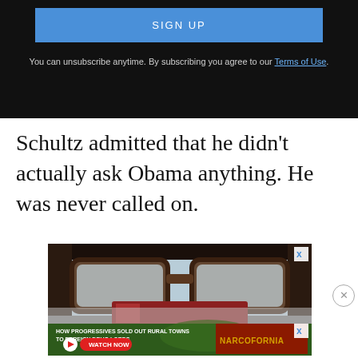[Figure (screenshot): Dark background signup box with blue SIGN UP button and unsubscribe disclaimer text with Terms of Use link]
You can unsubscribe anytime. By subscribing you agree to our Terms of Use.
Schultz admitted that he didn’t actually ask Obama anything. He was never called on.
[Figure (photo): Advertisement showing close-up of sunglasses with passport, and Narcofornia ad overlay about progressives and rural towns]